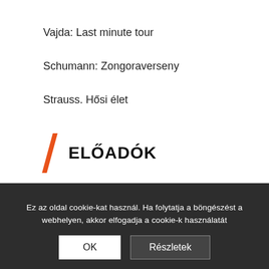Vajda: Last minute tour
Schumann: Zongoraverseny
Strauss. Hősi élet
ELŐADÓK
Elena Bashkirova – zongora
Harsányi Elina – hegedű
Vezényel: Hollerung Gábor
Ez az oldal cookie-kat használ. Ha folytatja a böngészést a webhelyen, akkor elfogadja a cookie-k használatát
2009-02-22 · 19:30